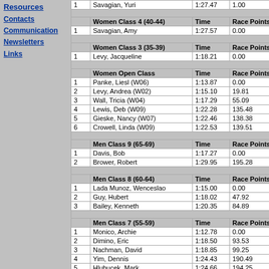Resources
Contacts
Communication
Newsletters
Links
|  | Women Class 4 (40-44) | Time | Race Points |
| --- | --- | --- | --- |
| 1 | Savagian, Amy | 1:27.57 | 0.00 |
|  | Women Class 3 (35-39) | Time | Race Points |
| --- | --- | --- | --- |
| 1 | Levy, Jacqueline | 1:18.21 | 0.00 |
|  | Women Open Class | Time | Race Points |
| --- | --- | --- | --- |
| 1 | Panke, Liesl (W06) | 1:13.87 | 0.00 |
| 2 | Levy, Andrea (W02) | 1:15.10 | 19.81 |
| 3 | Wall, Tricia (W04) | 1:17.29 | 55.09 |
| 4 | Lewis, Deb (W09) | 1:22.28 | 135.48 |
| 5 | Gieske, Nancy (W07) | 1:22.46 | 138.38 |
| 6 | Crowell, Linda (W09) | 1:22.53 | 139.51 |
|  | Men Class 9 (65-69) | Time | Race Points |
| --- | --- | --- | --- |
| 1 | Davis, Bob | 1:17.27 | 0.00 |
| 2 | Brower, Robert | 1:29.95 | 195.28 |
|  | Men Class 8 (60-64) | Time | Race Points |
| --- | --- | --- | --- |
| 1 | Lada Munoz, Wenceslao | 1:15.00 | 0.00 |
| 2 | Guy, Hubert | 1:18.02 | 47.92 |
| 3 | Bailey, Kenneth | 1:20.35 | 84.89 |
|  | Men Class 7 (55-59) | Time | Race Points |
| --- | --- | --- | --- |
| 1 | Monico, Archie | 1:12.78 | 0.00 |
| 2 | Dimino, Eric | 1:18.50 | 93.53 |
| 3 | Nachman, David | 1:18.85 | 99.25 |
| 4 | Yim, Dennis | 1:24.43 | 190.49 |
| 5 | Hlubucek, Mark | 1:24.66 | 194.25 |